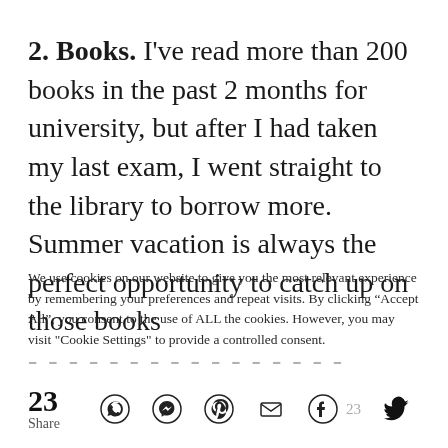2. Books. I've read more than 200 books in the past 2 months for university, but after I had taken my last exam, I went straight to the library to borrow more. Summer vacation is always the perfect opportunity to catch up on those books
We use cookies on our website to give you the most relevant experience by remembering your preferences and repeat visits. By clicking “Accept All”, you consent to the use of ALL the cookies. However, you may visit "Cookie Settings" to provide a controlled consent.
23 Share [social share icons: WhatsApp, Messenger, Pinterest, Email, Facebook 23, Twitter]